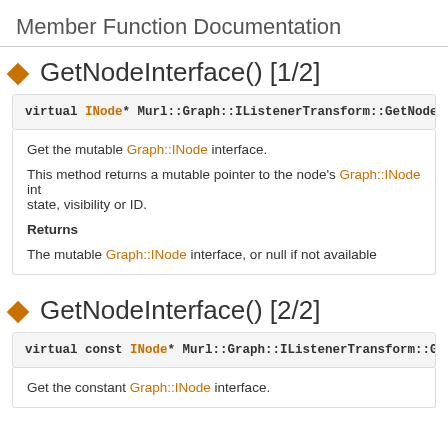Member Function Documentation
◆ GetNodeInterface() [1/2]
virtual INode* Murl::Graph::IListenerTransform::GetNodeInterface
Get the mutable Graph::INode interface.

This method returns a mutable pointer to the node's Graph::INode interface e.g. to change the state, visibility or ID.

Returns
The mutable Graph::INode interface, or null if not available
◆ GetNodeInterface() [2/2]
virtual const INode* Murl::Graph::IListenerTransform::GetNodeIn
Get the constant Graph::INode interface.